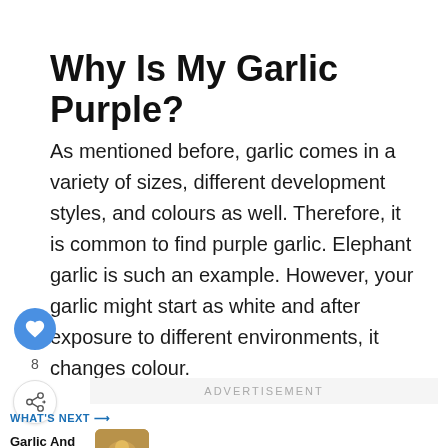Why Is My Garlic Purple?
As mentioned before, garlic comes in a variety of sizes, different development styles, and colours as well. Therefore, it is common to find purple garlic. Elephant garlic is such an example. However, your garlic might start as white and after exposure to different environments, it changes colour.
ADVERTISEMENT
WHAT'S NEXT → Garlic And Vitamin C:....